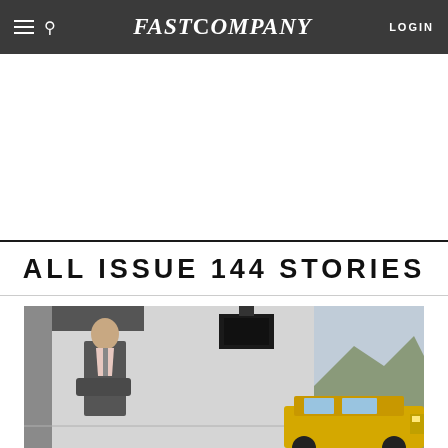FAST COMPANY
[Figure (other): White advertisement space below navigation bar]
ALL ISSUE 144 STORIES
[Figure (photo): Photo of a man in a suit with arms crossed standing in a modern space with a yellow taxi visible and mountains in the background]